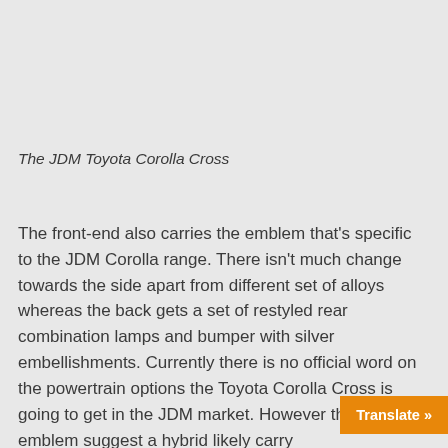The JDM Toyota Corolla Cross
The front-end also carries the emblem that's specific to the JDM Corolla range. There isn't much change towards the side apart from different set of alloys whereas the back gets a set of restyled rear combination lamps and bumper with silver embellishments. Currently there is no official word on the powertrain options the Toyota Corolla Cross is going to get in the JDM market. However the blue emblem suggest a hybrid likely carry the GTF EXE 1.8L engine with 98 hp of powe... of